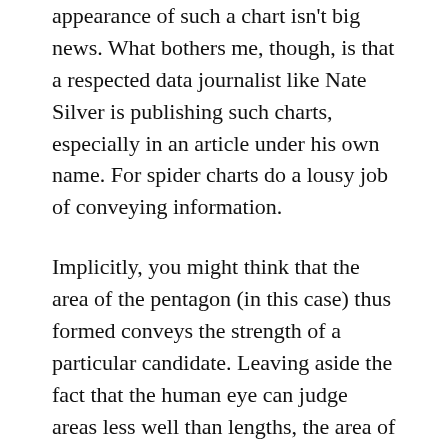appearance of such a chart isn't big news. What bothers me, though, is that a respected data journalist like Nate Silver is publishing such charts, especially in an article under his own name. For spider charts do a lousy job of conveying information.
Implicitly, you might think that the area of the pentagon (in this case) thus formed conveys the strength of a particular candidate. Leaving aside the fact that the human eye can judge areas less well than lengths, the area of a spider chart accurately shows “strength” only in one corner case – where the values along all five axes are the same.
In all other cases, such as in the spider charts